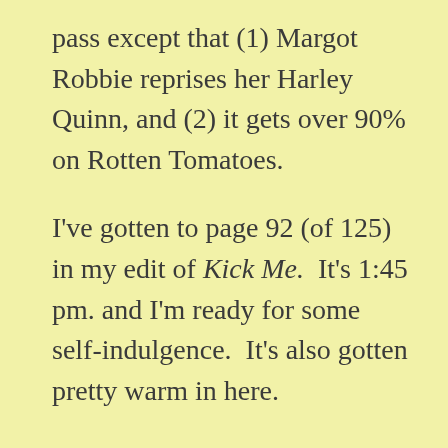pass except that (1) Margot Robbie reprises her Harley Quinn, and (2) it gets over 90% on Rotten Tomatoes.
I've gotten to page 92 (of 125) in my edit of Kick Me.  It's 1:45 pm. and I'm ready for some self-indulgence.  It's also gotten pretty warm in here.